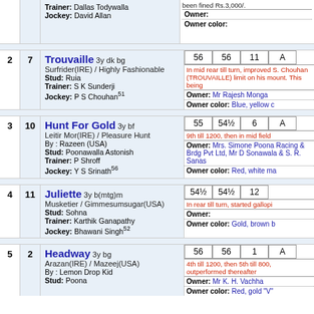| # | Draw | Horse Info | Weights/Notes |
| --- | --- | --- | --- |
| 2 | 7 | Trouvaille 3y dk bg
Surfrider(IRE) / Highly Fashionable
Stud: Ruia
Trainer: S K Sunderji
Jockey: P S Chouhan 51 | 56 | 56 | 11 | A
In mid rear till turn, improved... S. Chouhan (TROUVAILLE) limit on his mount.
Owner: Mr Rajesh Monga
Owner color: Blue, yellow c |
| 3 | 10 | Hunt For Gold 3y bf
Leitir Mor(IRE) / Pleasure Hunt
By : Razeen (USA)
Stud: Poonawalla Astonish
Trainer: P Shroff
Jockey: Y S Srinath 56 | 55 | 54½ | 6 | A
9th till 1200, then in mid field...
Owner: Mrs. Simone Poona... Racing & Brdg Pvt Ltd, Mr D... Sonawala & S. R. Sanas
Owner color: Red, white ma |
| 4 | 11 | Juliette 3y b(mtg)m
Musketier / Gimmesumsugar(USA)
Stud: Sohna
Trainer: Karthik Ganapathy
Jockey: Bhawani Singh 52 | 54½ | 54½ | 12
In rear till turn, started gallopi...
Owner:
Owner color: Gold, brown b |
| 5 | 2 | Headway 3y bg
Arazan(IRE) / Mazeej(USA)
By : Lemon Drop Kid
Stud: Poona | 56 | 56 | 1 | A
4th till 1200, then 5th till 800, outperformed thereafter
Owner: Mr K. H. Vachha
Owner color: Red, gold "V" |